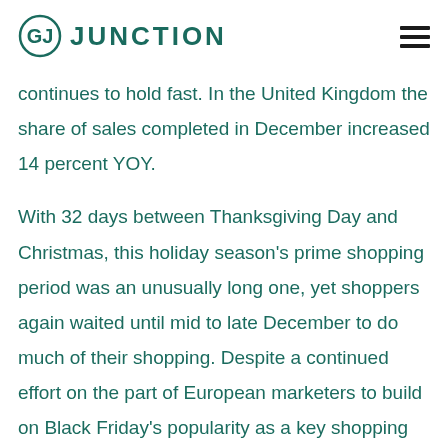GJ JUNCTION
continues to hold fast. In the United Kingdom the share of sales completed in December increased 14 percent YOY.
With 32 days between Thanksgiving Day and Christmas, this holiday season’s prime shopping period was an unusually long one, yet shoppers again waited until mid to late December to do much of their shopping. Despite a continued effort on the part of European marketers to build on Black Friday’s popularity as a key shopping day in the US, Black